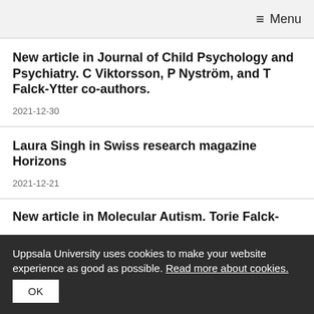≡ Menu
New article in Journal of Child Psychology and Psychiatry. C Viktorsson, P Nyström, and T Falck-Ytter co-authors.
2021-12-30
Laura Singh in Swiss research magazine Horizons
2021-12-21
New article in Molecular Autism. Torie Falck-
Uppsala University uses cookies to make your website experience as good as possible. Read more about cookies.